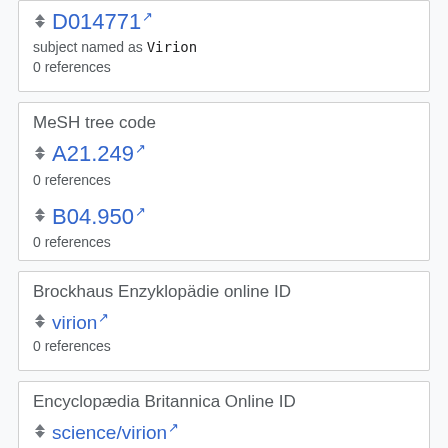D014771 [external link]
subject named as Virion
0 references
MeSH tree code
A21.249 [external link]
0 references
B04.950 [external link]
0 references
Brockhaus Enzyklopädie online ID
virion [external link]
0 references
Encyclopædia Britannica Online ID
science/virion [external link]
0 references